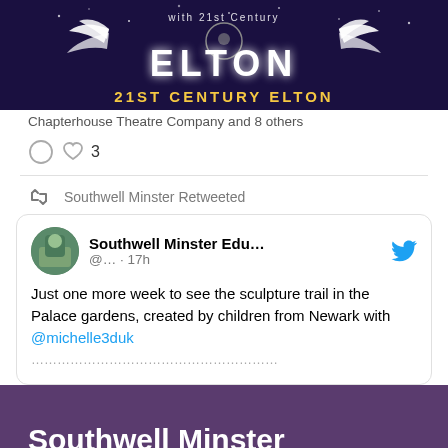[Figure (screenshot): Screenshot of a social media post showing '21ST CENTURY ELTON' concert/show promotional image with white winged logo on dark background]
Chapterhouse Theatre Company and 8 others
❤ 3
Southwell Minster Retweeted
[Figure (screenshot): Embedded tweet from Southwell Minster Edu... @... · 17h: Just one more week to see the sculpture trail in the Palace gardens, created by children from Newark with @michelle3duk]
Southwell Minster Newsletters
First Name *